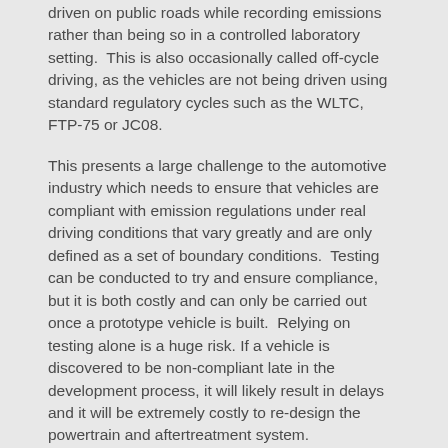driven on public roads while recording emissions rather than being so in a controlled laboratory setting.  This is also occasionally called off-cycle driving, as the vehicles are not being driven using standard regulatory cycles such as the WLTC, FTP-75 or JC08.
This presents a large challenge to the automotive industry which needs to ensure that vehicles are compliant with emission regulations under real driving conditions that vary greatly and are only defined as a set of boundary conditions.  Testing can be conducted to try and ensure compliance, but it is both costly and can only be carried out once a prototype vehicle is built.  Relying on testing alone is a huge risk. If a vehicle is discovered to be non-compliant late in the development process, it will likely result in delays and it will be extremely costly to re-design the powertrain and aftertreatment system.
To help engineers mitigate the risk that a vehicle won't meet the applicable real driving emission standards, we developed simulation solutions such as vRDE.  The latest development is GT-RealDrive, a route generation tool that helps engineers study how vehicle and system models perform under real-driving scenarios.
GT-RealDrive models real-world driving by creating off-cycles routes based on user defined start and end addresses.  The cycles take into account traffic conditions, elevation, and traffic signals, effectively generating a cycle representative of real-world driving.  Since GT-